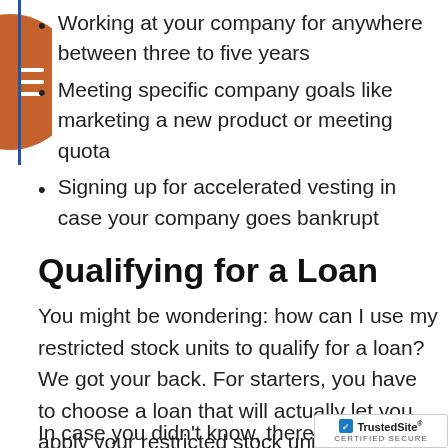Working at your company for anywhere between three to five years
Meeting specific company goals like marketing a new product or meeting quota
Signing up for accelerated vesting in case your company goes bankrupt
Qualifying for a Loan
You might be wondering: how can I use my restricted stock units to qualify for a loan? We got your back. For starters, you have to choose a loan that will actually let you apply your restricted stock units toward it.
In case you didn't know, there are a f…